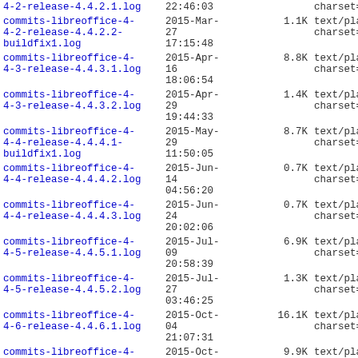| filename | date | size | type |
| --- | --- | --- | --- |
| 4-2-release-4.4.2.1.log | 22:46:03 |  | charset=utf-8 |
| commits-libreoffice-4-4-2-release-4.4.2.2-buildfix1.log | 2015-Mar-27 17:15:48 | 1.1K | text/plain; charset=utf-8 |
| commits-libreoffice-4-4-3-release-4.4.3.1.log | 2015-Apr-16 18:06:54 | 8.8K | text/plain; charset=utf-8 |
| commits-libreoffice-4-4-3-release-4.4.3.2.log | 2015-Apr-29 19:44:33 | 1.4K | text/plain; charset=utf-8 |
| commits-libreoffice-4-4-4-release-4.4.4.1-buildfix1.log | 2015-May-29 11:50:05 | 8.7K | text/plain; charset=utf-8 |
| commits-libreoffice-4-4-4-release-4.4.4.2.log | 2015-Jun-14 04:56:20 | 0.7K | text/plain; charset=utf-8 |
| commits-libreoffice-4-4-4-release-4.4.4.3.log | 2015-Jun-24 20:02:06 | 0.7K | text/plain; charset=utf-8 |
| commits-libreoffice-4-4-5-release-4.4.5.1.log | 2015-Jul-09 20:58:39 | 6.9K | text/plain; charset=utf-8 |
| commits-libreoffice-4-4-5-release-4.4.5.2.log | 2015-Jul-27 03:46:25 | 1.3K | text/plain; charset=utf-8 |
| commits-libreoffice-4-4-6-release-4.4.6.1.log | 2015-Oct-04 21:07:31 | 16.1K | text/plain; charset=utf-8 |
| commits-libreoffice-4-4-6-release-4.4.6.2.log | 2015-Oct-19 19:41:12 | 9.9K | text/plain; charset=utf-8 |
| commits-libreoffice-4-... | 2015-Oct-... |  | text/plain;... |